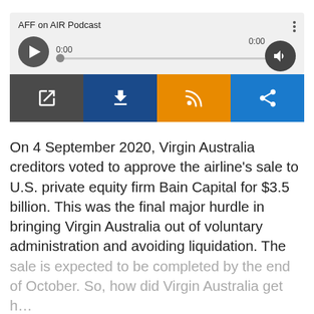[Figure (screenshot): AFF on AIR Podcast audio player widget with play button, progress bar showing 0:00, volume button, and four action buttons: open, download, RSS feed, and share.]
On 4 September 2020, Virgin Australia creditors voted to approve the airline's sale to U.S. private equity firm Bain Capital for $3.5 billion. This was the final major hurdle in bringing Virgin Australia out of voluntary administration and avoiding liquidation. The sale is expected to be completed by the end of October. So, how did Virgin Australia get h…